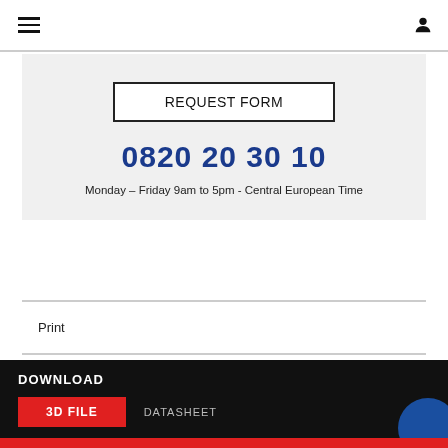Navigation bar with hamburger menu and user icon
REQUEST FORM
0820 20 30 10
Monday – Friday 9am to 5pm - Central European Time
Print
DOWNLOAD
3D FILE
DATASHEET